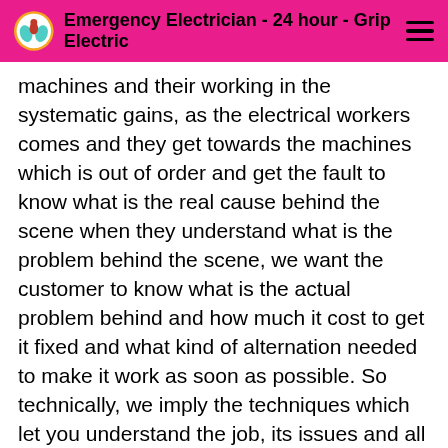Emergency Electrician - 24 hour - Grip Electric
machines and their working in the systematic gains, as the electrical workers comes and they get towards the machines which is out of order and get the fault to know what is the real cause behind the scene when they understand what is the problem behind the scene, we want the customer to know what is the actual problem behind and how much it cost to get it fixed and what kind of alternation needed to make it work as soon as possible. So technically, we imply the techniques which let you understand the job, its issues and all other related stuff needed. We are the electricians which are app guilds which means that we have done courses on the electrical working in the